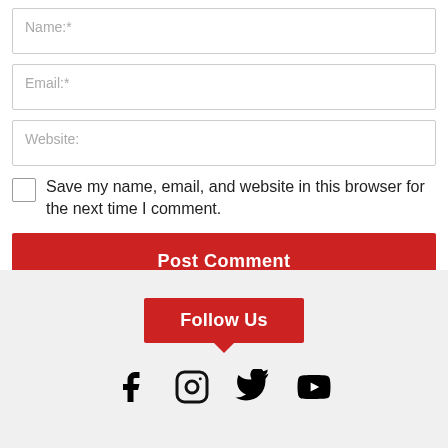Name:*
Email:*
Website:
Save my name, email, and website in this browser for the next time I comment.
Post Comment
Follow Us
[Figure (illustration): Social media icons: Facebook, Instagram, Twitter, YouTube]